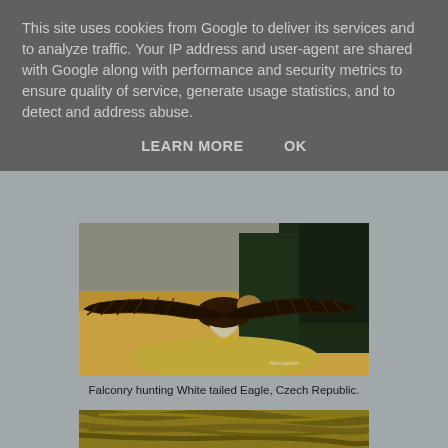This site uses cookies from Google to deliver its services and to analyze traffic. Your IP address and user-agent are shared with Google along with performance and security metrics to ensure quality of service, generate usage statistics, and to detect and address abuse.
LEARN MORE    OK
[Figure (photo): A large eagle (White-tailed Eagle) in flight with wings fully spread, soaring low over a golden grassy field with dark green trees in the background. Czech Republic falconry hunting photo with a photographer's watermark signature in the lower right corner.]
Falconry hunting White tailed Eagle, Czech Republic.
[Figure (photo): Partial view of another bird photo, showing feathers in a warm golden/olive tone, visible at the bottom of the page.]